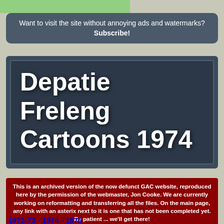Want to visit the site without annoying ads and watermarks? Subscribe!
Depatie Freleng Cartoons 1974
This is an archived version of the now defunct GAC website, reproduced here by the permission of the webmaster, Jon Cooke. We are currently working on reformatting and transferring all the files. On the main page, any link with an asterix next to it is one that has not been completed yet. Be patient ... we'll get there!
1972-73 - 1974 - 1975
home